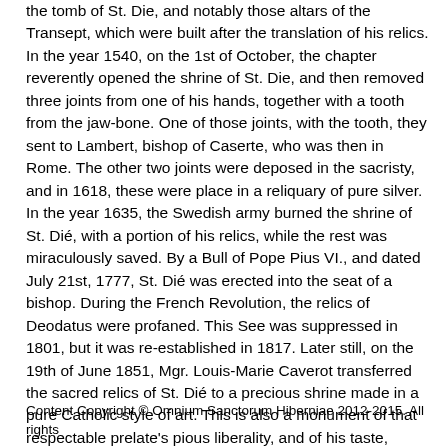the tomb of St. Die, and notably those altars of the Transept, which were built after the translation of his relics. In the year 1540, on the 1st of October, the chapter reverently opened the shrine of St. Die, and then removed three joints from one of his hands, together with a tooth from the jaw-bone. One of those joints, with the tooth, they sent to Lambert, bishop of Caserte, who was then in Rome. The other two joints were deposed in the sacristy, and in 1618, these were place in a reliquary of pure silver. In the year 1635, the Swedish army burned the shrine of St. Dié, with a portion of his relics, while the rest was miraculously saved. By a Bull of Pope Pius VI., and dated July 21st, 1777, St. Dié was erected into the seat of a bishop. During the French Revolution, the relics of Deodatus were profaned. This See was suppressed in 1801, but it was re-established in 1817. Later still, on the 19th of June 1851, Mgr. Louis-Marie Caverot transferred the sacred relics of St. Dié to a precious shrine made in a pure Catholic style of art. This is also a monument of that respectable prelate's pious liberality, and of his taste, which is manifested in the design.
Content Copyright © Omnium Sanctorum Hiberniae 2012-2015. All rights